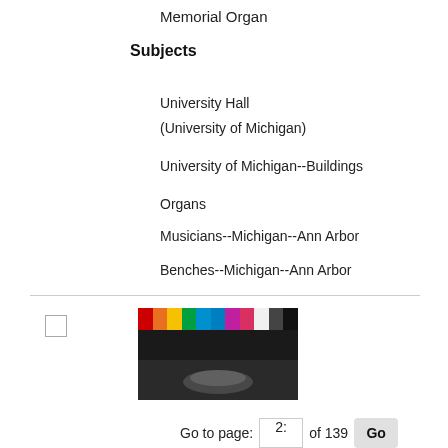Memorial Organ
Subjects
University Hall
(University of Michigan)
University of Michigan--Buildings
Organs
Musicians--Michigan--Ann Arbor
Benches--Michigan--Ann Arbor
[Figure (photo): Thumbnail image showing a color calibration bar at top and a black and white photograph below]
< Previous   Next >
Go to page: 2: of 139 Go